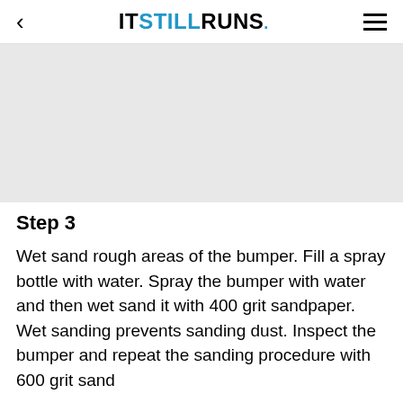IT STILL RUNS.
[Figure (photo): Light gray placeholder image area for Step 3 illustration]
Step 3
Wet sand rough areas of the bumper. Fill a spray bottle with water. Spray the bumper with water and then wet sand it with 400 grit sandpaper. Wet sanding prevents sanding dust. Inspect the bumper and repeat the sanding procedure with 600 grit sand